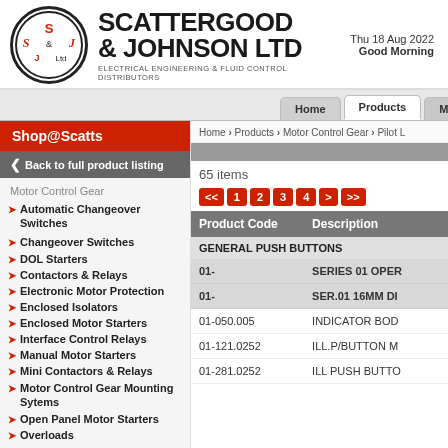[Figure (logo): Scattergood & Johnson Ltd circular logo with S&J text]
SCATTERGOOD & JOHNSON LTD
ELECTRICAL ENGINEERING & FLUID CONTROL DISTRIBUTORS
Thu 18 Aug 2022
Good Morning
Shop@Scatts
Home  Products  Manufacturers
Back to full product listing
Home > Products > Motor Control Gear > Pilot L
Motor Control Gear
Automatic Changeover Switches
Changeover Switches
DOL Starters
Contactors & Relays
Electronic Motor Protection
Enclosed Isolators
Enclosed Motor Starters
Interface Control Relays
Manual Motor Starters
Mini Contactors & Relays
Motor Control Gear Mounting Sytems
Open Panel Motor Starters
Overloads
65 items
<< 1 2 3 4 > >>
| Product Code | Description |
| --- | --- |
| GENERAL PUSH BUTTONS |  |
| 01- | SERIES 01 OPER... |
| 01- | SER.01 16MM DI... |
| 01-050.005 | INDICATOR BOD... |
| 01-121.0252 | ILL.P/BUTTON M... |
| 01-281.0252 | ILL PUSH BUTTO... |